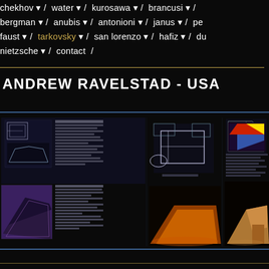chekhov / water / kurosawa / brancusi / bergman / anubis / antonioni / janus / pe faust / tarkovsky / san lorenzo / hafiz / du nietzsche / contact /
ANDREW RAVELSTAD - USA
[Figure (screenshot): Portfolio panel showing architectural drawings and renderings: technical drawings, floor plans, exterior night renderings of angular modern structures]